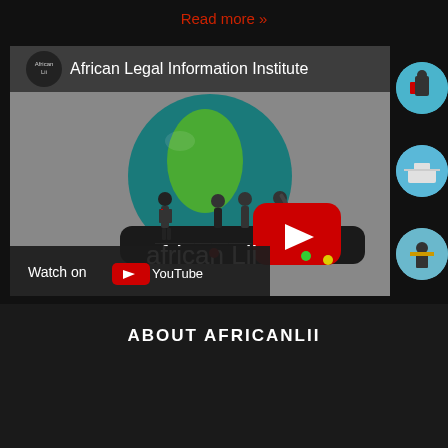Read more »
[Figure (screenshot): YouTube video embed thumbnail for African Legal Information Institute (AfricanLii) channel, showing animated figures standing on a globe with Africa map, the AfricanLii logo, a YouTube play button, and a 'Watch on YouTube' overlay at the bottom left.]
ABOUT AFRICANLII